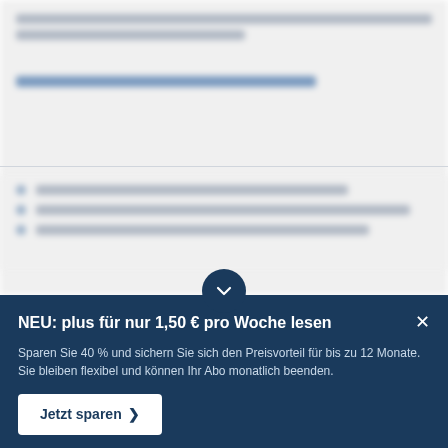[blurred article content — text lines not legible]
[blurred subheading line not legible]
[blurred list item 1 not legible]
[blurred list item 2 not legible]
[blurred list item 3 not legible]
NEU: plus für nur 1,50 € pro Woche lesen
Sparen Sie 40 % und sichern Sie sich den Preisvorteil für bis zu 12 Monate. Sie bleiben flexibel und können Ihr Abo monatlich beenden.
Jetzt sparen >